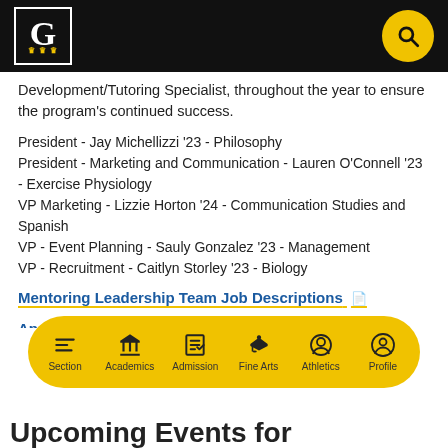Georgetown University - Navigation header with logo and search
Development/Tutoring Specialist, throughout the year to ensure the program's continued success.
President - Jay Michellizzi '23 - Philosophy
President - Marketing and Communication - Lauren O'Connell '23 - Exercise Physiology
VP Marketing - Lizzie Horton '24 - Communication Studies and Spanish
VP - Event Planning - Sauly Gonzalez '23 - Management
VP - Recruitment - Caitlyn Storley '23 - Biology
Mentoring Leadership Team Job Descriptions [PDF link]
Application Form for 2022-2023 Academic Year [external link]
Section | Academics | Admission | Fine Arts | Athletics | Profile